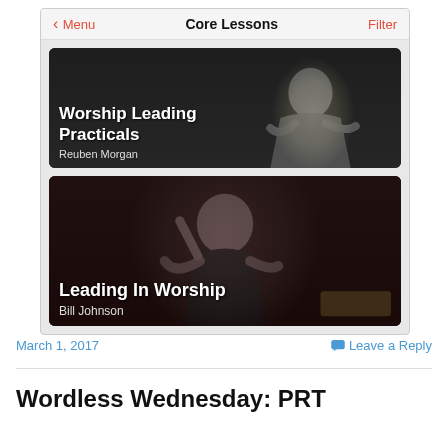[Figure (screenshot): Mobile app screenshot showing 'Core Lessons' navigation screen with two lesson cards: 'Worship Leading Practicals' by Reuben Morgan and 'Leading In Worship' by Bill Johnson]
March 1, 2017
Leave a Reply
Wordless Wednesday: PRT